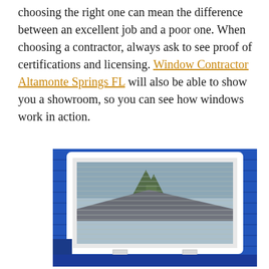choosing the right one can mean the difference between an excellent job and a poor one. When choosing a contractor, always ask to see proof of certifications and licensing. Window Contractor Altamonte Springs FL will also be able to show you a showroom, so you can see how windows work in action.
[Figure (photo): A white-framed window installed on the exterior of a blue vinyl-sided house, with blinds visible through the glass and a reflection of trees and a roofline in the window pane.]